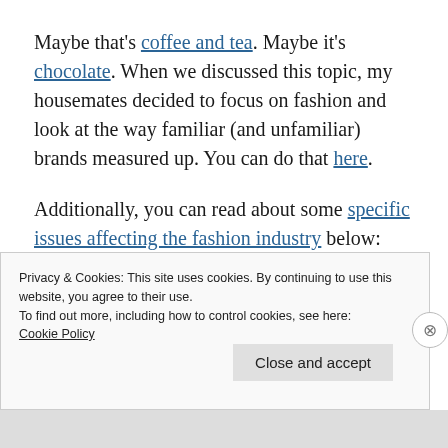Maybe that's coffee and tea. Maybe it's chocolate. When we discussed this topic, my housemates decided to focus on fashion and look at the way familiar (and unfamiliar) brands measured up. You can do that here.
Additionally, you can read about some specific issues affecting the fashion industry below:
There is little or no transparency on
Privacy & Cookies: This site uses cookies. By continuing to use this website, you agree to their use.
To find out more, including how to control cookies, see here:
Cookie Policy